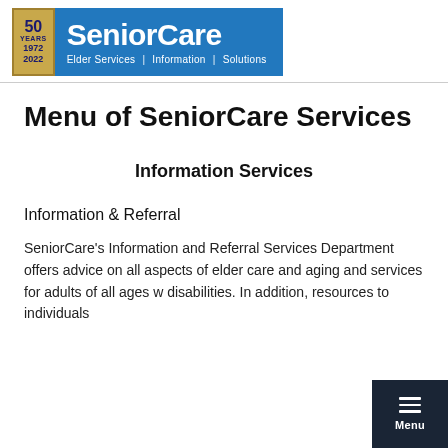[Figure (logo): SeniorCare logo with '50 Years 1972 2022' gold badge on the left and blue background with 'SeniorCare' in white text and tagline 'Elder Services | Information | Solutions']
Menu of SeniorCare Services
Information Services
Information & Referral
SeniorCare's Information and Referral Services Department offers advice on all aspects of elder care and aging and services for adults of all ages w... disabilities. In addition, resources to individuals...